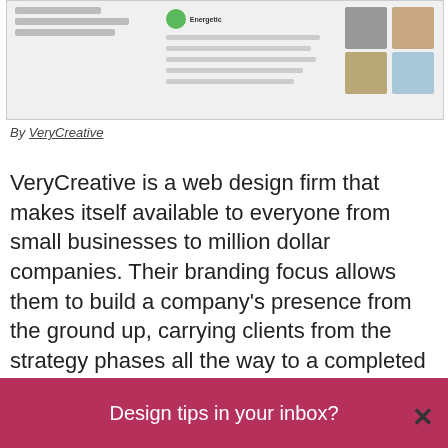[Figure (screenshot): Screenshot of a website showing content with an Energetic badge, text lines, and property photos in a grid]
By VeryCreative
VeryCreative is a web design firm that makes itself available to everyone from small businesses to million dollar companies. Their branding focus allows them to build a company’s presence from the ground up, carrying clients from the strategy phases all the way to a completed website.
Specialties
Design tips in your inbox?